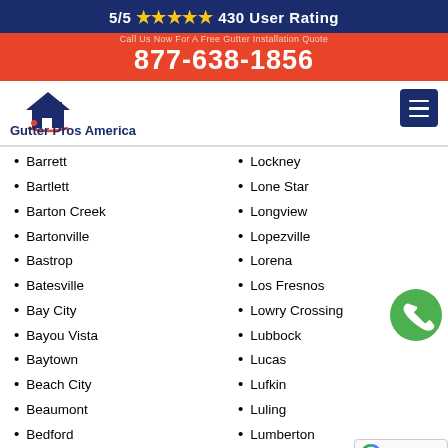5/5 ★★★★★ 430 User Rating
877-638-1856
[Figure (logo): Gutter Pros America logo with house/roof icon]
Barrett
Bartlett
Barton Creek
Bartonville
Bastrop
Batesville
Bay City
Bayou Vista
Baytown
Beach City
Beaumont
Bedford
Bee Cave
Lockney
Lone Star
Longview
Lopezville
Lorena
Los Fresnos
Lowry Crossing
Lubbock
Lucas
Lufkin
Luling
Lumberton
Lyford